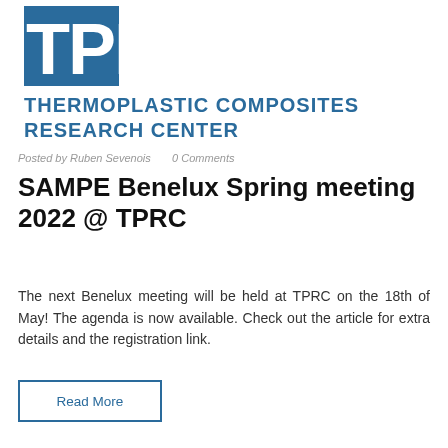[Figure (logo): TPRC Thermoplastic Composites Research Center logo — blue square icon with TPRC letters and full name below]
Posted by Ruben Sevenois     0 Comments
SAMPE Benelux Spring meeting 2022 @ TPRC
The next Benelux meeting will be held at TPRC on the 18th of May! The agenda is now available. Check out the article for extra details and the registration link.
Read More